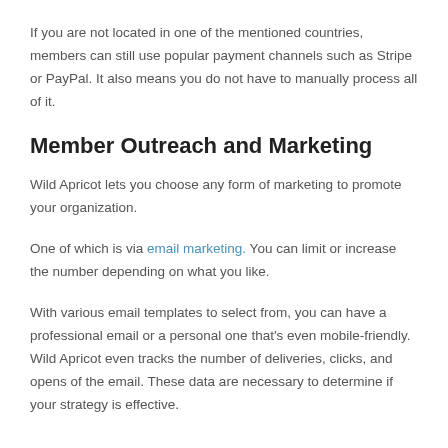If you are not located in one of the mentioned countries, members can still use popular payment channels such as Stripe or PayPal. It also means you do not have to manually process all of it.
Member Outreach and Marketing
Wild Apricot lets you choose any form of marketing to promote your organization.
One of which is via email marketing. You can limit or increase the number depending on what you like.
With various email templates to select from, you can have a professional email or a personal one that's even mobile-friendly. Wild Apricot even tracks the number of deliveries, clicks, and opens of the email. These data are necessary to determine if your strategy is effective.